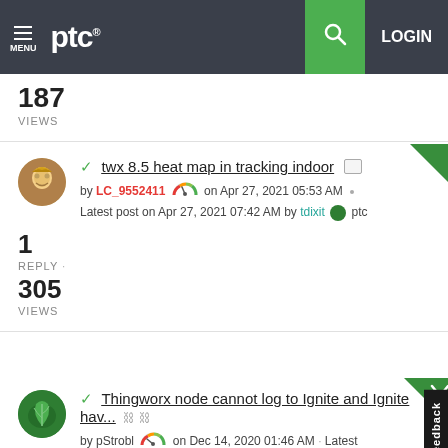PTC — MENU | LOGIN
187
VIEWS
✓ twx 8.5 heat map in tracking indoor
by LC_9552411 on Apr 27, 2021 05:53 AM · Latest post on Apr 27, 2021 07:42 AM by tdixit ptc
1
REPLY ·
305
VIEWS
✓ Thingworx node cannot log to Ignite and Ignite hav...
by pStrobl on Dec 14, 2020 01:46 AM · Latest